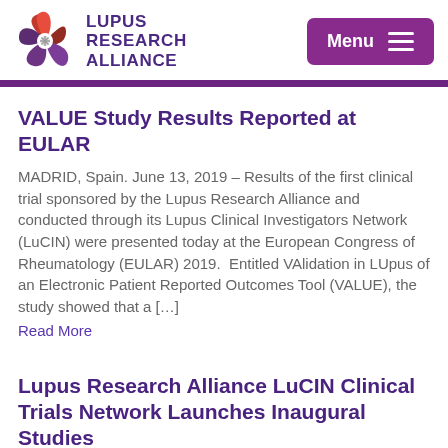[Figure (logo): Lupus Research Alliance logo with circular flower-like icon in red, purple, and gradient colors, and text LUPUS RESEARCH ALLIANCE in bold purple]
VALUE Study Results Reported at EULAR
MADRID, Spain. June 13, 2019 – Results of the first clinical trial sponsored by the Lupus Research Alliance and conducted through its Lupus Clinical Investigators Network (LuCIN) were presented today at the European Congress of Rheumatology (EULAR) 2019.  Entitled VAlidation in LUpus of an Electronic Patient Reported Outcomes Tool (VALUE), the study showed that a […]
Read More
Lupus Research Alliance LuCIN Clinical Trials Network Launches Inaugural Studies